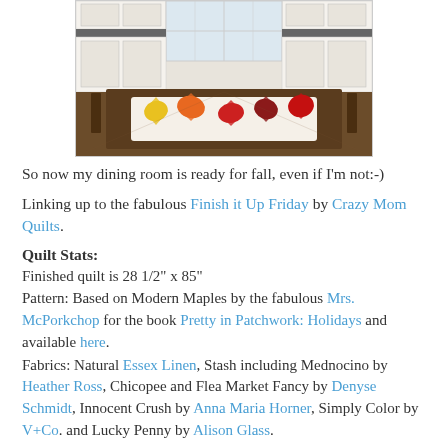[Figure (photo): A quilt table runner with colorful autumn maple leaves displayed on a dark wood dining table in a kitchen/dining room setting]
So now my dining room is ready for fall, even if I'm not:-)
Linking up to the fabulous Finish it Up Friday by Crazy Mom Quilts.
Quilt Stats:
Finished quilt is 28 1/2" x 85"
Pattern: Based on Modern Maples by the fabulous Mrs. McPorkchop for the book Pretty in Patchwork: Holidays and available here.
Fabrics: Natural Essex Linen, Stash including Mednocino by Heather Ross, Chicopee and Flea Market Fancy by Denyse Schmidt, Innocent Crush by Anna Maria Horner, Simply Color by V+Co. and Lucky Penny by Alison Glass.
Batting: Quilter's Dream Orient Bamboo
Thread: Light Beige Aurifil (2310) 28 wt top thread, 50 wt